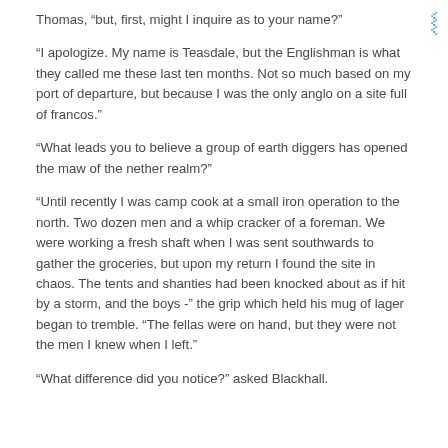Thomas, “but, first, might I inquire as to your name?”
“I apologize. My name is Teasdale, but the Englishman is what they called me these last ten months. Not so much based on my port of departure, but because I was the only anglo on a site full of francos.”
“What leads you to believe a group of earth diggers has opened the maw of the nether realm?”
“Until recently I was camp cook at a small iron operation to the north. Two dozen men and a whip cracker of a foreman. We were working a fresh shaft when I was sent southwards to gather the groceries, but upon my return I found the site in chaos. The tents and shanties had been knocked about as if hit by a storm, and the boys -” the grip which held his mug of lager began to tremble. “The fellas were on hand, but they were not the men I knew when I left.”
“What difference did you notice?” asked Blackhall.